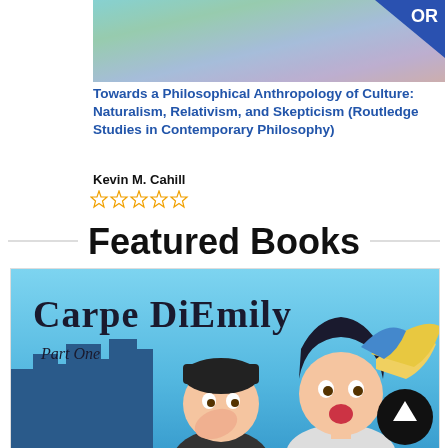[Figure (illustration): Partial book cover with iridescent teal/green/purple gradient texture and a dark blue Routledge logo in top-right corner]
Towards a Philosophical Anthropology of Culture: Naturalism, Relativism, and Skepticism (Routledge Studies in Contemporary Philosophy)
Kevin M. Cahill
[Figure (other): Five empty star rating icons]
Featured Books
[Figure (illustration): Book cover for 'Carpe DiEmily Part One' showing two cartoon women against a blue city skyline background, with an upward arrow circle in lower right]